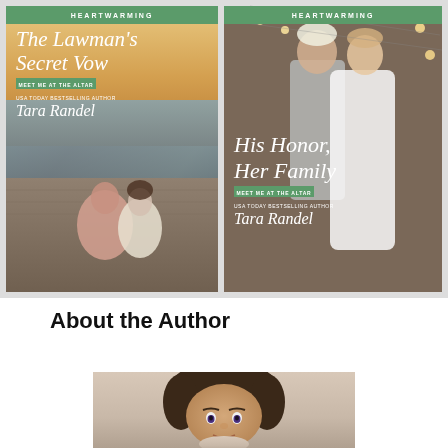[Figure (illustration): Two romance novel book covers side by side, both from Harlequin Heartwarming series by Tara Randel. Left cover: 'The Lawman's Secret Vow' with 'Meet Me at the Altar' badge, showing a couple sitting by the water at sunset. Right cover: 'His Honor, Her Family' with 'Meet Me at the Altar' badge, showing a couple in wedding attire with string lights.]
About the Author
[Figure (photo): Author photo showing a woman with short brown hair.]